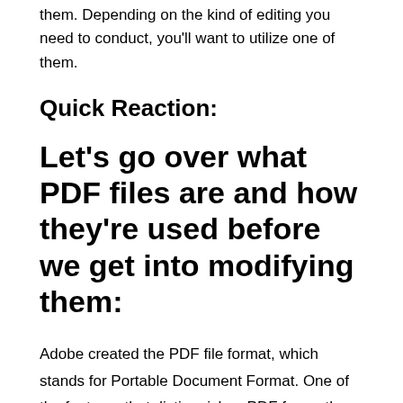them. Depending on the kind of editing you need to conduct, you'll want to utilize one of them.
Quick Reaction:
Let's go over what PDF files are and how they're used before we get into modifying them:
Adobe created the PDF file format, which stands for Portable Document Format. One of the features that distinguishes PDF from other text file formats is that it is meant to appear the same across all systems and programs. Other text files, such as